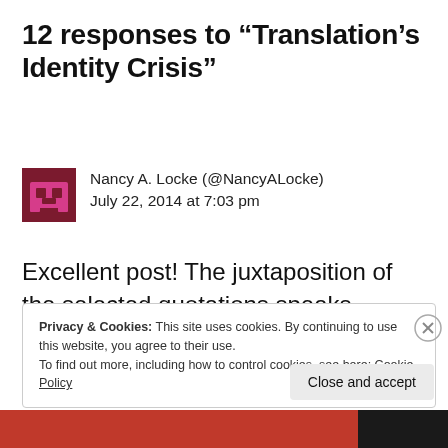12 responses to “Translation’s Identity Crisis”
Nancy A. Locke (@NancyALocke)
July 22, 2014 at 7:03 pm
Excellent post! The juxtaposition of the selected quotations speaks volume.
Privacy & Cookies: This site uses cookies. By continuing to use this website, you agree to their use.
To find out more, including how to control cookies, see here: Cookie Policy
Close and accept